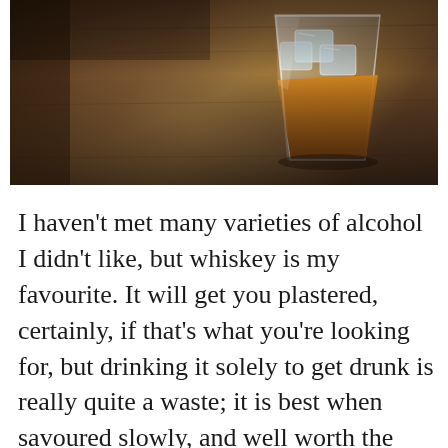[Figure (photo): A glass of whiskey with ice on a wooden table, dark moody lighting, close-up shot from above and side angle]
I haven't met many varieties of alcohol I didn't like, but whiskey is my favourite. It will get you plastered, certainly, if that's what you're looking for, but drinking it solely to get drunk is really quite a waste; it is best when savoured slowly, and well worth the time and patience to learn the distinct qualities of the different brands and types, be it American, Canadian, Scottish, Irish, or Japanese, single malt or blended, rye, Kentucky bourbon, etc. (If you want to know what decent whiskey tastes like,